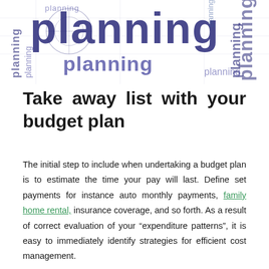[Figure (illustration): Word cloud/typographic decoration featuring the word 'planning' repeated multiple times in various sizes, orientations (horizontal and vertical), and blue/navy colors, creating a layered background image.]
Take away list with your budget plan
The initial step to include when undertaking a budget plan is to estimate the time your pay will last. Define set payments for instance auto monthly payments, family home rental, insurance coverage, and so forth. As a result of correct evaluation of your “expenditure patterns”, it is easy to immediately identify strategies for efficient cost management.